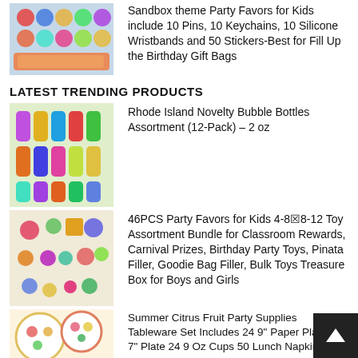[Figure (photo): Grid of colorful character pins, keychains, wristbands and stickers party favors]
Sandbox theme Party Favors for Kids include 10 Pins, 10 Keychains, 10 Silicone Wristbands and 50 Stickers-Best for Fill Up the Birthday Gift Bags
LATEST TRENDING PRODUCTS
[Figure (photo): Colorful assorted bubble bottles arranged in rows]
Rhode Island Novelty Bubble Bottles Assortment (12-Pack) – 2 oz
[Figure (photo): Large assortment of party favor toys including bracelets, rubik's cube, squishy animals, balls]
46PCS Party Favors for Kids 4-8🗷8-12 Toy Assortment Bundle for Classroom Rewards, Carnival Prizes, Birthday Party Toys, Pinata Filler, Goodie Bag Filler, Bulk Toys Treasure Box for Boys and Girls
[Figure (photo): Summer citrus fruit themed paper plates, cups and napkins party supplies tableware]
Summer Citrus Fruit Party Supplies Tableware Set Includes 24 9" Paper Plates 24 7" Plate 24 9 Oz Cups 50 Lunch Napkins for Tutti Fruity Lemon Watermelon Tropical Disposable Birthday Dinnerware Decor